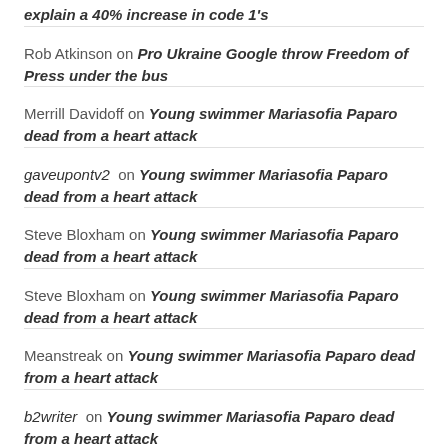explain a 40% increase in code 1's
Rob Atkinson on Pro Ukraine Google throw Freedom of Press under the bus
Merrill Davidoff on Young swimmer Mariasofia Paparo dead from a heart attack
gaveupontv2 on Young swimmer Mariasofia Paparo dead from a heart attack
Steve Bloxham on Young swimmer Mariasofia Paparo dead from a heart attack
Steve Bloxham on Young swimmer Mariasofia Paparo dead from a heart attack
Meanstreak on Young swimmer Mariasofia Paparo dead from a heart attack
b2writer on Young swimmer Mariasofia Paparo dead from a heart attack
Brian O'Hagan on Russian missile strike hits Ukrainian missile